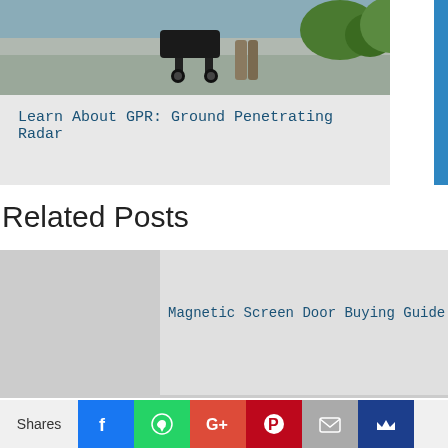[Figure (photo): Photo of a ground penetrating radar device being used on a road, with greenery in background]
Learn About GPR: Ground Penetrating Radar
Related Posts
[Figure (photo): Gray placeholder image for Magnetic Screen Door Buying Guide related post]
Magnetic Screen Door Buying Guide
Shares